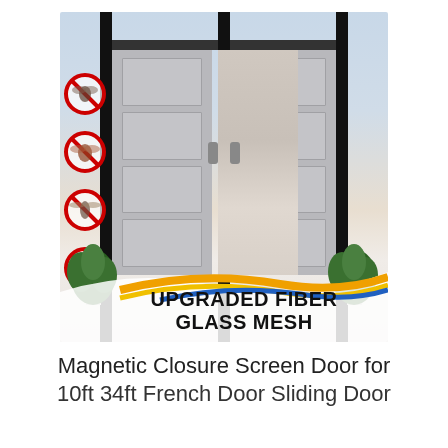[Figure (photo): Product photo showing a magnetic screen door with black mesh frame installed on double doors. Four red circle-slash insect warning icons are shown on the left side. Text overlay reads 'UPGRADED FIBER GLASS MESH' with decorative orange and blue wave stripe at bottom. Green plants visible at lower corners.]
Magnetic Closure Screen Door for 10ft 34ft French Door Sliding Door